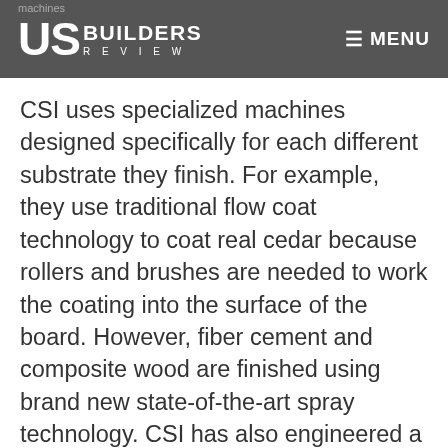US Builders Review | MENU
CSI uses specialized machines designed specifically for each different substrate they finish. For example, they use traditional flow coat technology to coat real cedar because rollers and brushes are needed to work the coating into the surface of the board. However, fiber cement and composite wood are finished using brand new state-of-the-art spray technology. CSI has also engineered a coating machine specifically for shake panel products, as well as a fourth technology made specifically to do panel products like four-by-eight sheet goods. CSI employees check the boards for proper coating